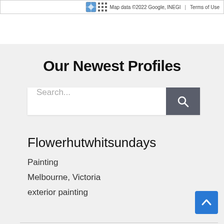[Figure (screenshot): Map attribution bar showing keyboard icon, grid icon, 'Map data ©2022 Google, INEGI' and 'Terms of Use']
Our Newest Profiles
[Figure (screenshot): Search input field with placeholder text 'Search...' and a dark gray search button with magnifying glass icon]
Flowerhutwhitsundays
Painting
Melbourne, Victoria
exterior painting